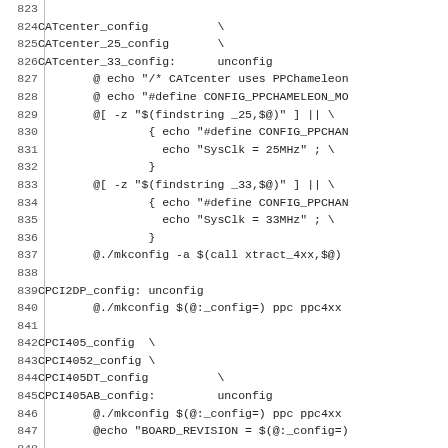Code listing lines 823-852 showing Makefile configuration targets: CATcenter_config, CATcenter_25_config, CATcenter_33_config with unconfig and echo/mkconfig commands; CPCI2DP_config, CPCI405_config, CPCI4052_config, CPCI405DT_config, CPCI405AB_config, CPCI440_config, CPCIISER4_config targets.